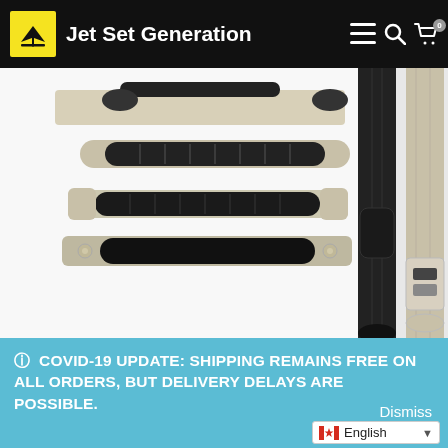Jet Set Generation
[Figure (photo): Product photo showing luggage handles and seatbelt-style straps in black and champagne/silver color. Multiple handle styles are displayed including flat grab handles with metal ends and rounded leather handles with rivets. On the right side, two seatbelt-style buckle straps are shown in black and champagne.]
Follow on Instagram
ⓘ COVID-19 UPDATE: SHIPPING REMAINS FREE ON ALL ORDERS, BUT DELIVERY DELAYS ARE POSSIBLE.
Dismiss
English